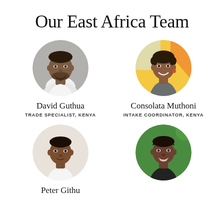Our East Africa Team
[Figure (photo): Circular headshot photo of David Guthua, a man with short hair against a gray background]
David Guthua
TRADE SPECIALIST, KENYA
[Figure (photo): Circular headshot photo of Consolata Muthoni, a woman smiling with colorful yellow and blue background]
Consolata Muthoni
INTAKE COORDINATOR, KENYA
[Figure (photo): Circular headshot photo of Peter Githu, a man against a light background]
Peter Githu
[Figure (photo): Circular headshot photo of a woman smiling against a green background]